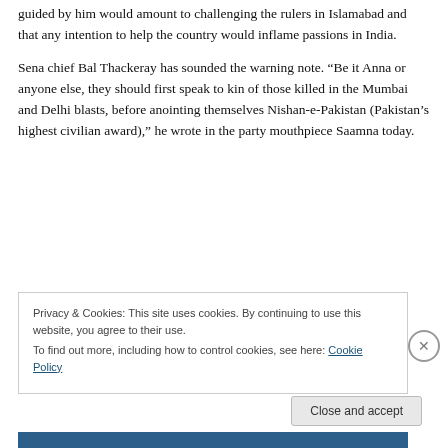guided by him would amount to challenging the rulers in Islamabad and that any intention to help the country would inflame passions in India.
Sena chief Bal Thackeray has sounded the warning note. “Be it Anna or anyone else, they should first speak to kin of those killed in the Mumbai and Delhi blasts, before anointing themselves Nishan-e-Pakistan (Pakistan’s highest civilian award),” he wrote in the party mouthpiece Saamna today.
Privacy & Cookies: This site uses cookies. By continuing to use this website, you agree to their use.
To find out more, including how to control cookies, see here: Cookie Policy